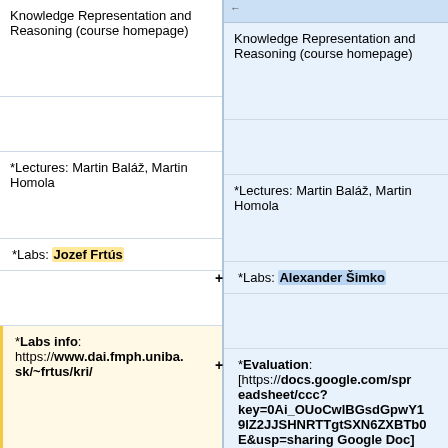| Left (old) | Right (new) |
| --- | --- |
| Knowledge Representation and Reasoning (course homepage) | Knowledge Representation and Reasoning (course homepage) |
|  |  |
| *Lectures: Martin Baláž, Martin Homola | *Lectures: Martin Baláž, Martin Homola |
| *Labs: Jozef Frtús | *Labs: Alexander Šimko |
|  |  |
| *Labs info: https://www.dai.fmph.uniba.sk/~frtus/kri/ | *Evaluation: [https://docs.google.com/spreadsheet/ccc?key=0Ai_OUoCwlBGsdGpwY19lZ2JJSHNRTTgtSXN6ZXBTb0E&usp=sharing Google Doc] |
|  |  |
|  | == Course outline == |
|  |  |